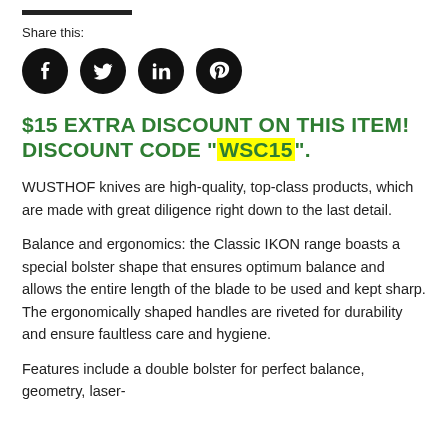[Figure (other): Black horizontal bar at top of page]
Share this:
[Figure (other): Four social media icons: Facebook, Twitter, LinkedIn, Pinterest — black circles with white logos]
$15 EXTRA DISCOUNT ON THIS ITEM! DISCOUNT CODE "WSC15".
WUSTHOF knives are high-quality, top-class products, which are made with great diligence right down to the last detail.
Balance and ergonomics: the Classic IKON range boasts a special bolster shape that ensures optimum balance and allows the entire length of the blade to be used and kept sharp. The ergonomically shaped handles are riveted for durability and ensure faultless care and hygiene.
Features include a double bolster for perfect balance, geometry, laser-